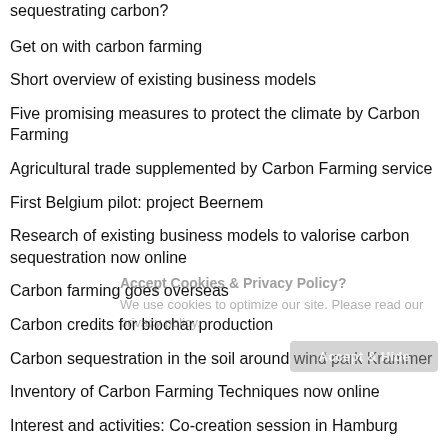sequestrating carbon?
Get on with carbon farming
Short overview of existing business models
Five promising measures to protect the climate by Carbon Farming
Agricultural trade supplemented by Carbon Farming service
First Belgium pilot: project Beernem
Research of existing business models to valorise carbon sequestration now online
Carbon farming goes overseas
Carbon credits for biochar production
Carbon sequestration in the soil around wind park Krammer
Inventory of Carbon Farming Techniques now online
Interest and activities: Co-creation session in Hamburg